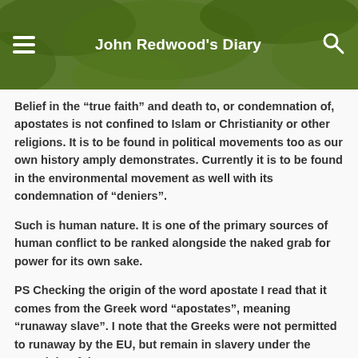John Redwood's Diary
Belief in the “true faith” and death to, or condemnation of, apostates is not confined to Islam or Christianity or other religions. It is to be found in political movements too as our own history amply demonstrates. Currently it is to be found in the environmental movement as well with its condemnation of “deniers”.
Such is human nature. It is one of the primary sources of human conflict to be ranked alongside the naked grab for power for its own sake.
PS Checking the origin of the word apostate I read that it comes from the Greek word “apostates”, meaning “runaway slave”. I note that the Greeks were not permitted to runaway by the EU, but remain in slavery under the oversight of the